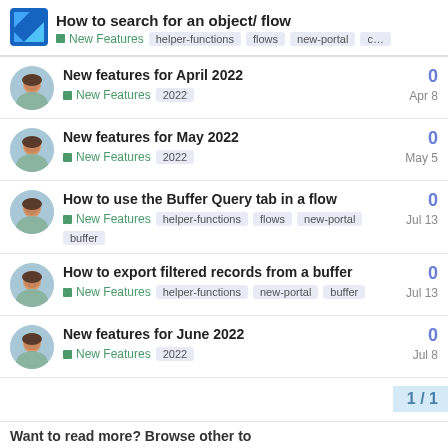How to search for an object/ flow | New Features | helper-functions | flows | new-portal | c…
New features for April 2022 | New Features | 2022 | 0 | Apr 8
New features for May 2022 | New Features | 2022 | 0 | May 5
How to use the Buffer Query tab in a flow | New Features | helper-functions | flows | new-portal | buffer | 0 | Jul 13
How to export filtered records from a buffer | New Features | helper-functions | new-portal | buffer | 0 | Jul 13
New features for June 2022 | New Features | 2022 | 0 | Jul 8
1 / 1
Want to read more? Browse other to